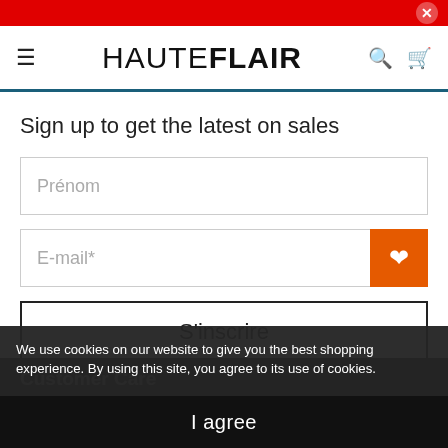HAUTEFLAIR
Sign up to get the latest on sales
Prénom
E-mail*
S'inscrire
We use cookies on our website to give you the best shopping experience. By using this site, you agree to its use of cookies.
Customer Care
Contact Us
Shipping & Returns
I agree
Military Discount